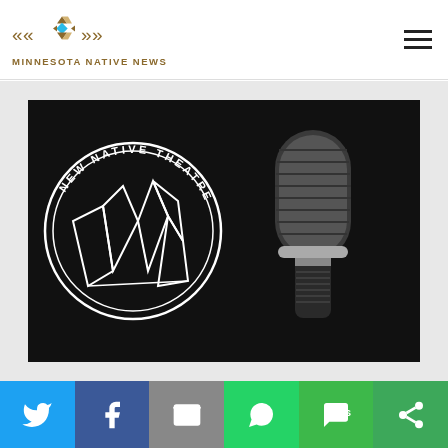[Figure (logo): Minnesota Native News logo - decorative diamond/arrow geometric symbol in brown/orange/teal colors above the text MINNESOTA NATIVE NEWS]
[Figure (photo): Dark background image showing the New Native Theatre circular logo on the left (white line art of geometric/mountain shapes in a circle with text NEW NATIVE THEATRE) and a large studio microphone on the right in a dark, moody lighting]
[Figure (infographic): Social media sharing bar at the bottom with six buttons: Twitter (blue), Facebook (dark blue), Email/Mail (gray), WhatsApp (green), SMS (green), and More/Share (dark green)]